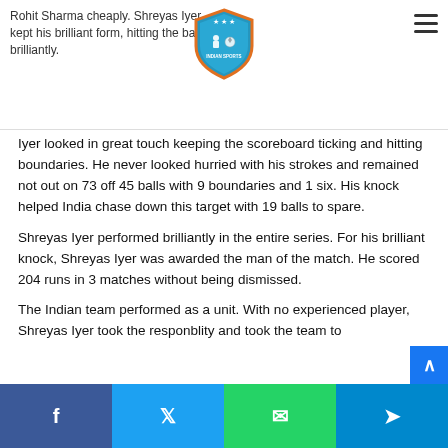Rohit Sharma cheaply. Shreyas Iyer kept his brilliant form, hitting the ball brilliantly.
[Figure (logo): Indian Sports website logo — shield shape with orange border, blue interior, sports figures, stars at top, text 'INDIAN SPORTS']
Iyer looked in great touch keeping the scoreboard ticking and hitting boundaries. He never looked hurried with his strokes and remained not out on 73 off 45 balls with 9 boundaries and 1 six. His knock helped India chase down this target with 19 balls to spare.
Shreyas Iyer performed brilliantly in the entire series. For his brilliant knock, Shreyas Iyer was awarded the man of the match. He scored 204 runs in 3 matches without being dismissed.
The Indian team performed as a unit. With no experienced player, Shreyas Iyer took the responblity and took the team to...